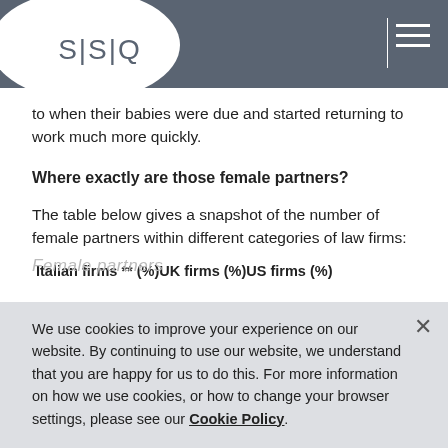SSQ
to when their babies were due and started returning to work much more quickly.
Where exactly are those female partners?
The table below gives a snapshot of the number of female partners within different categories of law firms:
| Italian firms ** (%) | UK firms (%) | US firms (%) |
| --- | --- | --- |
Female partners
We use cookies to improve your experience on our website. By continuing to use our website, we understand that you are happy for us to do this. For more information on how we use cookies, or how to change your browser settings, please see our Cookie Policy.